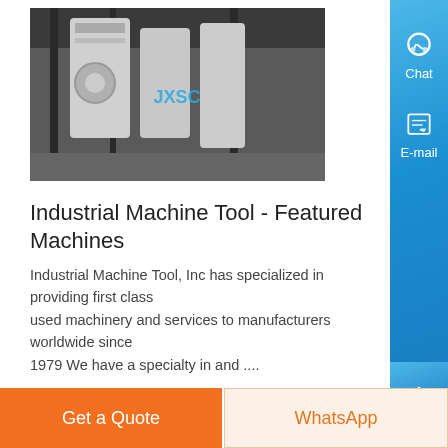[Figure (photo): Industrial machine tool facility interior showing large white machinery and equipment]
Industrial Machine Tool - Featured Machines
Industrial Machine Tool, Inc has specialized in providing first class used machinery and services to manufacturers worldwide since 1979 We have a specialty in and ....
Know More
[Figure (photo): Aerial view of a mining or construction site with machinery and excavated terrain]
Get a Quote
WhatsApp